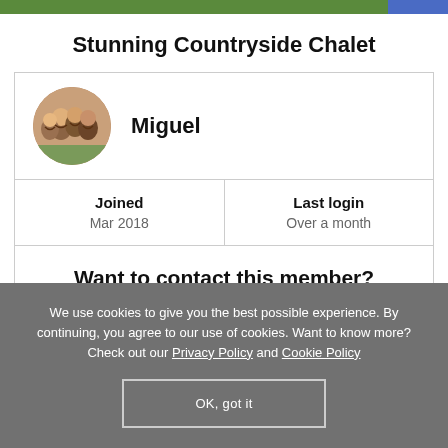Stunning Countryside Chalet
| Miguel |  |
| Joined
Mar 2018 | Last login
Over a month |
| Want to contact this member?
Start your two-week free trial to chat to other members |  |
We use cookies to give you the best possible experience. By continuing, you agree to our use of cookies. Want to know more? Check out our Privacy Policy and Cookie Policy
OK, got it